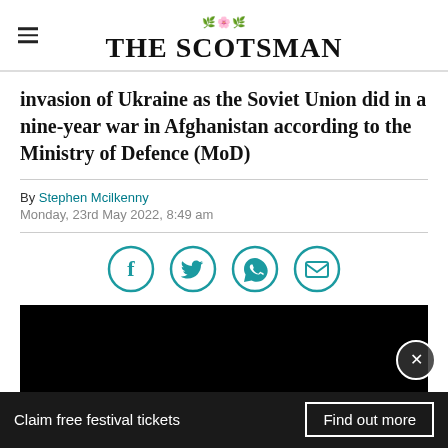THE SCOTSMAN
invasion of Ukraine as the Soviet Union did in a nine-year war in Afghanistan according to the Ministry of Defence (MoD)
By Stephen Mcilkenny
Monday, 23rd May 2022, 8:49 am
[Figure (infographic): Social share icons: Facebook, Twitter, WhatsApp, Email — teal circle outlines]
[Figure (photo): Black media/video block]
Claim free festival tickets
Find out more